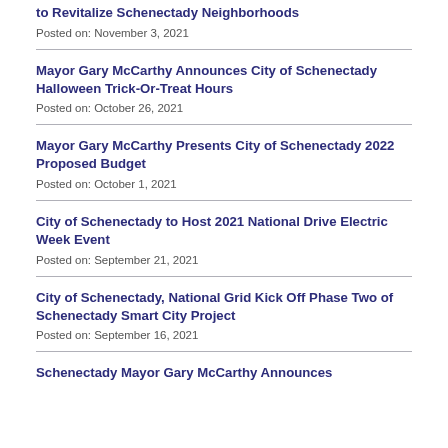to Revitalize Schenectady Neighborhoods
Posted on: November 3, 2021
Mayor Gary McCarthy Announces City of Schenectady Halloween Trick-Or-Treat Hours
Posted on: October 26, 2021
Mayor Gary McCarthy Presents City of Schenectady 2022 Proposed Budget
Posted on: October 1, 2021
City of Schenectady to Host 2021 National Drive Electric Week Event
Posted on: September 21, 2021
City of Schenectady, National Grid Kick Off Phase Two of Schenectady Smart City Project
Posted on: September 16, 2021
Schenectady Mayor Gary McCarthy Announces